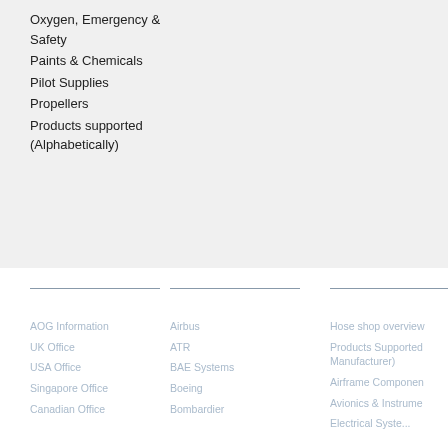Oxygen, Emergency & Safety
Paints & Chemicals
Pilot Supplies
Propellers
Products supported (Alphabetically)
Contact Details: AOG Information | UK Office | USA Office | Singapore Office | Canadian Office | Aircraft Supported: Airbus | ATR | BAE Systems | Boeing | Bombardier | Products Supported: Hose shop overview | Products Supported (by Manufacturer) | Airframe Components | Avionics & Instruments | Electrical Systems